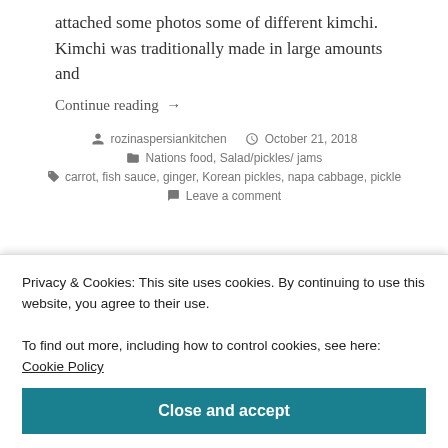attached some photos some of different kimchi. Kimchi was traditionally made in large amounts and
Continue reading →
rozinaspersiankitchen   October 21, 2018   Nations food, Salad/pickles/ jams   carrot, fish sauce, ginger, Korean pickles, napa cabbage, pickle   Leave a comment
Privacy & Cookies: This site uses cookies. By continuing to use this website, you agree to their use. To find out more, including how to control cookies, see here: Cookie Policy
Close and accept